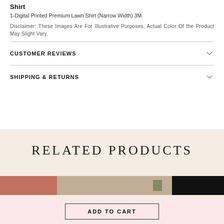Shirt
1-Digital Printed Premium Lawn Shirt (Narrow Width) 3M.
Disclaimer: These Images Are For Illustrative Purposes, Actual Color Of the Product May Slight Vary.
CUSTOMER REVIEWS
SHIPPING & RETURNS
RELATED PRODUCTS
[Figure (photo): Product image strips showing clothing items in terracotta, beige/tan, black, and grey colors]
ADD TO CART